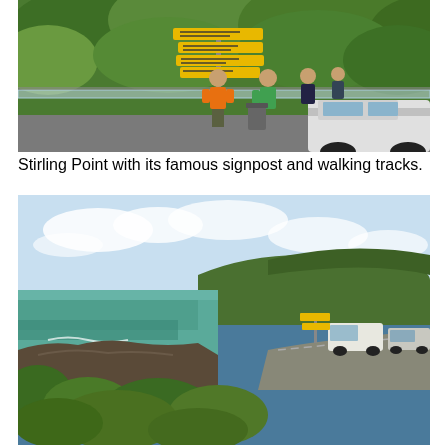[Figure (photo): Stirling Point with tourists standing near a yellow directional signpost. Green hillside vegetation in the background, glass railing, parked cars visible. A person in an orange vest stands near the signpost.]
Stirling Point with its famous signpost and walking tracks.
[Figure (photo): Coastal landscape view showing rocky shoreline with turquoise/teal water, green bushy vegetation in the foreground, a road with parked vehicles including a white campervan, and green hills in the background under a partly cloudy sky.]